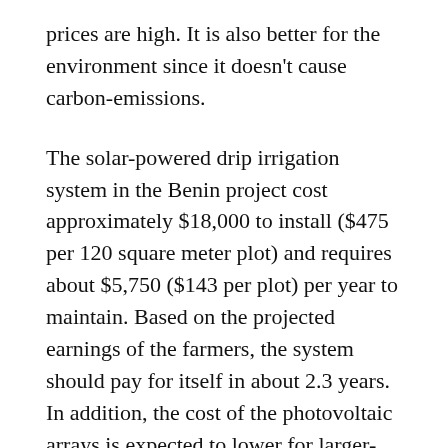prices are high. It is also better for the environment since it doesn't cause carbon-emissions.
The solar-powered drip irrigation system in the Benin project cost approximately $18,000 to install ($475 per 120 square meter plot) and requires about $5,750 ($143 per plot) per year to maintain. Based on the projected earnings of the farmers, the system should pay for itself in about 2.3 years. In addition, the cost of the photovoltaic arrays is expected to lower for larger-scale projects.
The project in Benin isn't the only one underway. Solar-powered drip irrigation